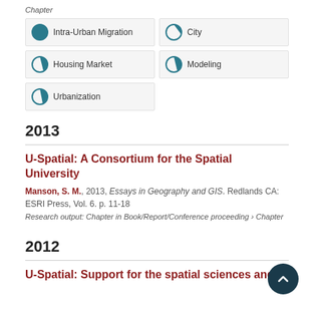Chapter
Intra-Urban Migration
City
Housing Market
Modeling
Urbanization
2013
U-Spatial: A Consortium for the Spatial University
Manson, S. M., 2013, Essays in Geography and GIS. Redlands CA: ESRI Press, Vol. 6. p. 11-18
Research output: Chapter in Book/Report/Conference proceeding › Chapter
2012
U-Spatial: Support for the spatial sciences and